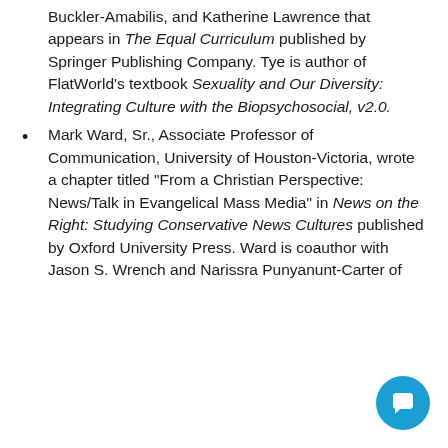Buckler-Amabilis, and Katherine Lawrence that appears in The Equal Curriculum published by Springer Publishing Company. Tye is author of FlatWorld's textbook Sexuality and Our Diversity: Integrating Culture with the Biopsychosocial, v2.0.
Mark Ward, Sr., Associate Professor of Communication, University of Houston-Victoria, wrote a chapter titled "From a Christian Perspective: News/Talk in Evangelical Mass Media" in News on the Right: Studying Conservative News Cultures published by Oxford University Press. Ward is coauthor with Jason S. Wrench and Narissra Punyanunt-Carter of